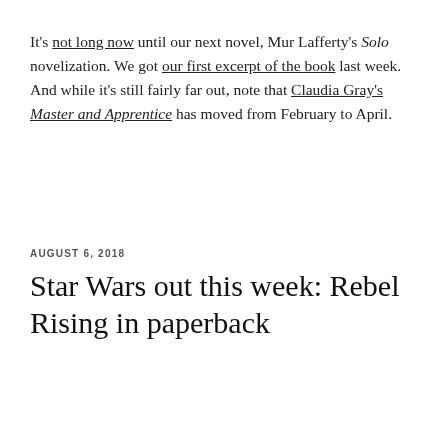It's not long now until our next novel, Mur Lafferty's Solo novelization. We got our first excerpt of the book last week. And while it's still fairly far out, note that Claudia Gray's Master and Apprentice has moved from February to April.
AUGUST 6, 2018
Star Wars out this week: Rebel Rising in paperback